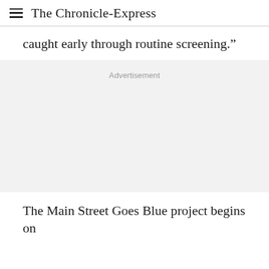The Chronicle-Express
caught early through routine screening.”
[Figure (other): Advertisement placeholder block]
The Main Street Goes Blue project begins on